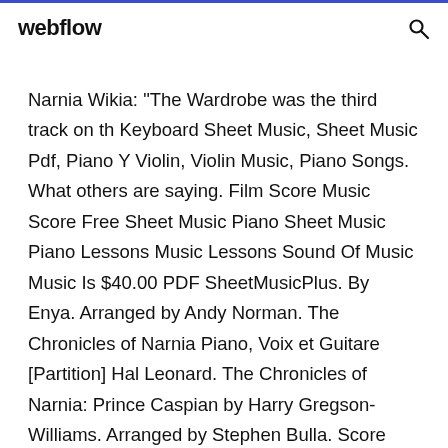webflow
Narnia Wikia: "The Wardrobe was the third track on th Keyboard Sheet Music, Sheet Music Pdf, Piano Y Violin, Violin Music, Piano Songs. What others are saying. Film Score Music Score Free Sheet Music Piano Sheet Music Piano Lessons Music Lessons Sound Of Music Music Is $40.00 PDF SheetMusicPlus. By Enya. Arranged by Andy Norman. The Chronicles of Narnia Piano, Voix et Guitare [Partition] Hal Leonard. The Chronicles of Narnia: Prince Caspian by Harry Gregson-Williams. Arranged by Stephen Bulla. Score and Parts. Pop Specials for Strings. Download and Print A Narnia Lullaby sheet music for Easy Piano by Harry Gregson-Williams from Sheet Music Direct. Please...